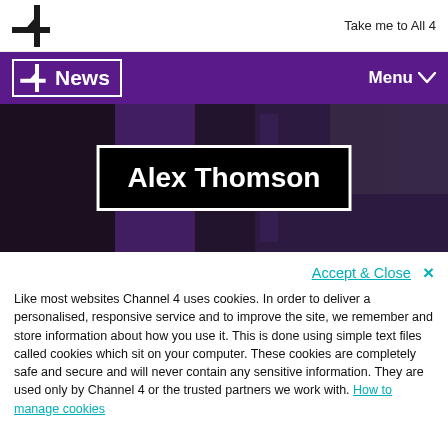Take me to All 4
[Figure (logo): Channel 4 News logo with purple nav bar and Menu button]
[Figure (photo): Dark purple hero banner with 'Alex Thomson' text in white inside a white-bordered black box]
Accept & Close  X
Like most websites Channel 4 uses cookies. In order to deliver a personalised, responsive service and to improve the site, we remember and store information about how you use it. This is done using simple text files called cookies which sit on your computer. These cookies are completely safe and secure and will never contain any sensitive information. They are used only by Channel 4 or the trusted partners we work with. How to manage cookies